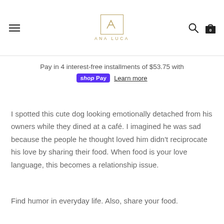ANA LUCA
Pay in 4 interest-free installments of $53.75 with shop Pay Learn more
I spotted this cute dog looking emotionally detached from his owners while they dined at a café. I imagined he was sad because the people he thought loved him didn't reciprocate his love by sharing their food. When food is your love language, this becomes a relationship issue.
Find humor in everyday life. Also, share your food.